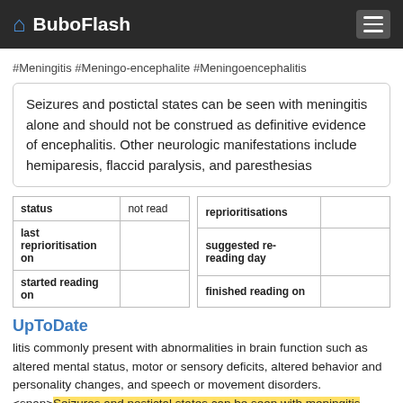BuboFlash
#Meningitis #Meningo-encephalite #Meningoencephalitis
Seizures and postictal states can be seen with meningitis alone and should not be construed as definitive evidence of encephalitis. Other neurologic manifestations include hemiparesis, flaccid paralysis, and paresthesias
| status | not read | reprioritisations |  |
| --- | --- | --- | --- |
| last reprioritisation on |  | suggested re-reading day |  |
| started reading on |  | finished reading on |  |
UpToDate
litis commonly present with abnormalities in brain function such as altered mental status, motor or sensory deficits, altered behavior and personality changes, and speech or movement disorders. <span>Seizures and postictal states can be seen with meningitis alone and should not be construed as definitive evidence of encephalitis. Other neurologic manifestations include hemiparesis, flaccid paralysis, and paresthesias